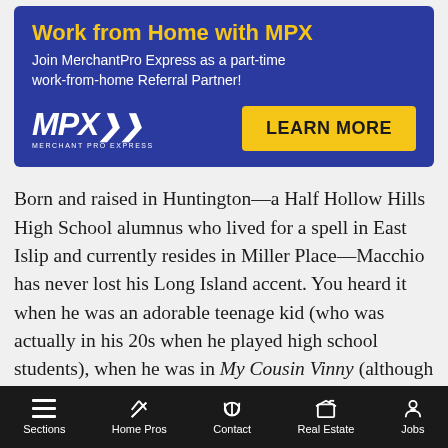[Figure (infographic): MPX advertisement banner with dark blue background. Headline: 'Work from Home with MPX', subtitle: 'Join MerchantPro Express as a part-time work-from-home Referral Partner!', MPX logo on left, 'LEARN MORE' yellow button on right.]
Born and raised in Huntington—a Half Hollow Hills High School alumnus who lived for a spell in East Islip and currently resides in Miller Place—Macchio has never lost his Long Island accent. You heard it when he was an adorable teenage kid (who was actually in his 20s when he played high school students), when he was in My Cousin Vinny (although his accent might have been drowned out by those of Joe Pesci and Marisa Tomei), and when he was an adorable 50-year-old contestant on Dancing with The Stars (who still looked
Sections | Home Pros | Contact | Real Estate | Jobs